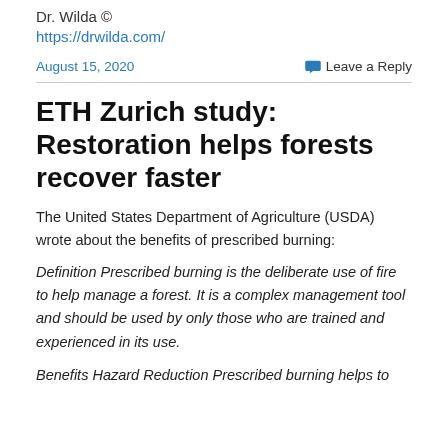Dr. Wilda ©
https://drwilda.com/
August 15, 2020
Leave a Reply
ETH Zurich study: Restoration helps forests recover faster
The United States Department of Agriculture (USDA) wrote about the benefits of prescribed burning:
Definition Prescribed burning is the deliberate use of fire to help manage a forest. It is a complex management tool and should be used by only those who are trained and experienced in its use.
Benefits Hazard Reduction Prescribed burning helps to